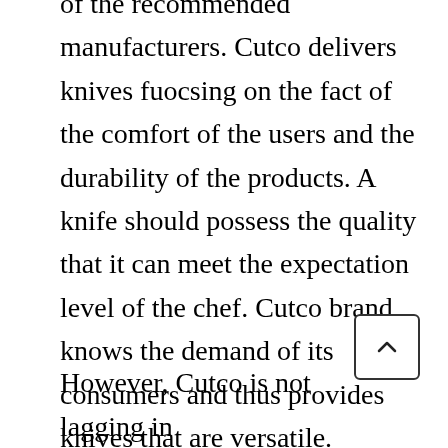of the recommended manufacturers. Cutco delivers knives fuocsing on the fact of the comfort of the users and the durability of the products. A knife should possess the quality that it can meet the expectation level of the chef. Cutco brand knows the demand of its consumers and thus provides knives that are versatile.
However, Cutco is not lagging in